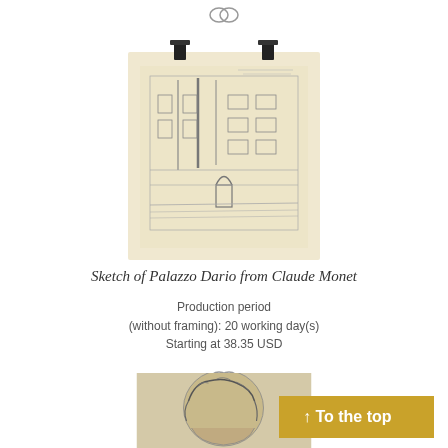[Figure (illustration): Interlocking circles icon (link/chain symbol) at top center]
[Figure (photo): Pencil sketch of Palazzo Dario by Claude Monet, showing a Venetian building facade with architectural details, clipped to a sketchbook with binder clips]
Sketch of Palazzo Dario from Claude Monet
Production period
(without framing): 20 working day(s)
Starting at 38.35 USD
[Figure (illustration): Interlocking circles icon (link/chain symbol) at mid center]
[Figure (photo): Partial view of another artwork at bottom]
↑ To the top